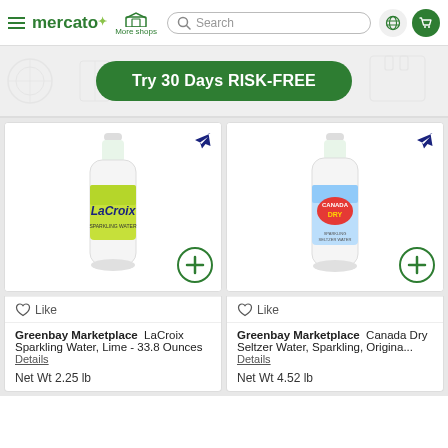mercato — More shops — Search bar — Globe — Cart
[Figure (screenshot): Green banner button: Try 30 Days RISK-FREE]
[Figure (photo): LaCroix Sparkling Water Lime bottle, 33.8 oz]
Like
Greenbay Marketplace  LaCroix Sparkling Water, Lime - 33.8 Ounces  Details  Net Wt 2.25 lb
[Figure (photo): Canada Dry Seltzer Water Sparkling Original bottle]
Like
Greenbay Marketplace  Canada Dry Seltzer Water, Sparkling, Origina...  Details  Net Wt 4.52 lb